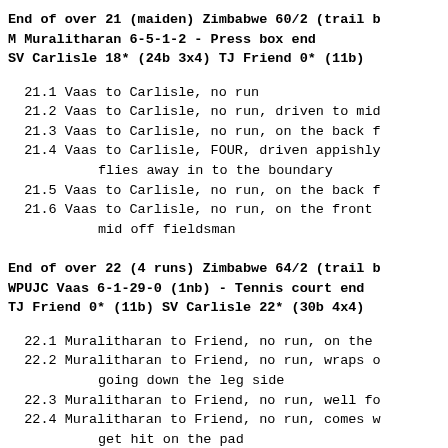End of over 21 (maiden) Zimbabwe 60/2 (trail b
M Muralitharan 6-5-1-2 - Press box end
SV Carlisle 18* (24b 3x4) TJ Friend 0* (11b)
21.1 Vaas to Carlisle, no run
21.2 Vaas to Carlisle, no run, driven to mid
21.3 Vaas to Carlisle, no run, on the back f
21.4 Vaas to Carlisle, FOUR, driven appishly flies away in to the boundary
21.5 Vaas to Carlisle, no run, on the back f
21.6 Vaas to Carlisle, no run, on the front mid off fieldsman
End of over 22 (4 runs) Zimbabwe 64/2 (trail b
WPUJC Vaas 6-1-29-0 (1nb) - Tennis court end
TJ Friend 0* (11b) SV Carlisle 22* (30b 4x4)
22.1 Muralitharan to Friend, no run, on the
22.2 Muralitharan to Friend, no run, wraps o going down the leg side
22.3 Muralitharan to Friend, no run, well fo
22.4 Muralitharan to Friend, no run, comes w get hit on the pad
22.5 Muralitharan to Friend, no run, comes f